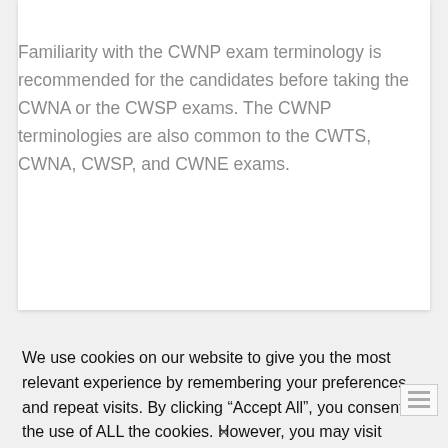Familiarity with the CWNP exam terminology is recommended for the candidates before taking the CWNA or the CWSP exams. The CWNP terminologies are also common to the CWTS, CWNA, CWSP, and CWNE exams.
We use cookies on our website to give you the most relevant experience by remembering your preferences and repeat visits. By clicking “Accept All”, you consent to the use of ALL the cookies. However, you may visit "Cookie Settings" to provide a controlled consent.